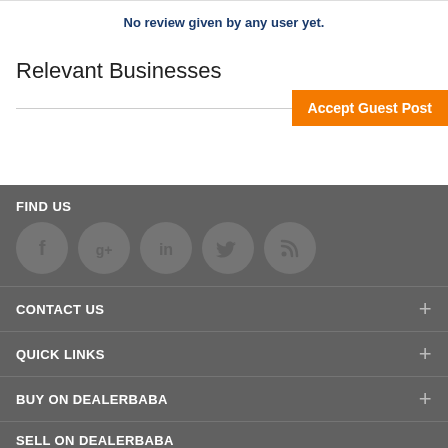No review given by any user yet.
Relevant Businesses
Accept Guest Post
FIND US
[Figure (infographic): Social media icons: Facebook, Google+, LinkedIn, Twitter, RSS feed]
CONTACT US +
QUICK LINKS +
BUY ON DEALERBABA +
SELL ON DEALERBABA